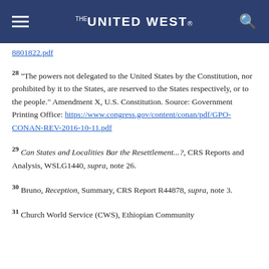THE UNITED WEST
8801822.pdf
28 "The powers not delegated to the United States by the Constitution, nor prohibited by it to the States, are reserved to the States respectively, or to the people." Amendment X, U.S. Constitution. Source: Government Printing Office: https://www.congress.gov/content/conan/pdf/GPO-CONAN-REV-2016-10-11.pdf
29 Can States and Localities Bar the Resettlement...?, CRS Reports and Analysis, WSLG1440, supra, note 26.
30 Bruno, Reception, Summary, CRS Report R44878, supra, note 3.
31 Church World Service (CWS), Ethiopian Community